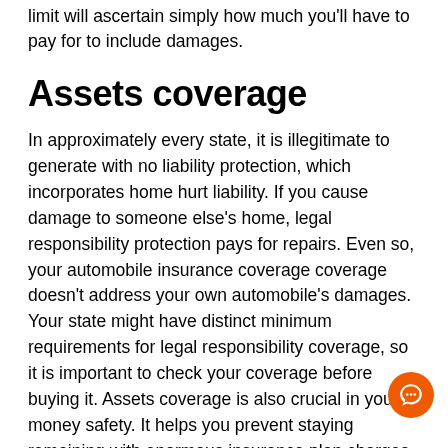limit will ascertain simply how much you'll have to pay for to include damages.
Assets coverage
In approximately every state, it is illegitimate to generate with no liability protection, which incorporates home hurt liability. If you cause damage to someone else's home, legal responsibility protection pays for repairs. Even so, your automobile insurance coverage coverage doesn't address your own automobile's damages. Your state might have distinct minimum requirements for legal responsibility coverage, so it is important to check your coverage before buying it. Assets coverage is also crucial in your money safety. It helps you prevent staying remaining with enormous insurance plan charges if you result in a collision.
Your coverage policy have to have some kind of home hurt protection to compensate you while in the event of a